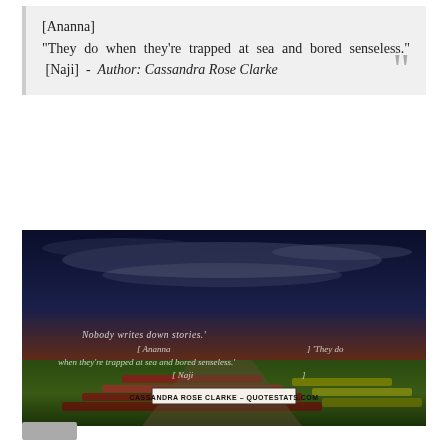[Ananna] "They do when they're trapped at sea and bored senseless." [Naji] - Author: Cassandra Rose Clarke
[Figure (photo): Landscape photo of a flower field at dusk with a dramatic dark sky. Overlaid quote text reads: 'Nobody writes down stories.' [Ananna] 'They do when they're trapped at sea and bored senseless.' [Naji]. Attribution banner at bottom: CASSANDRA ROSE CLARKE - QUOTESTATS.COM]